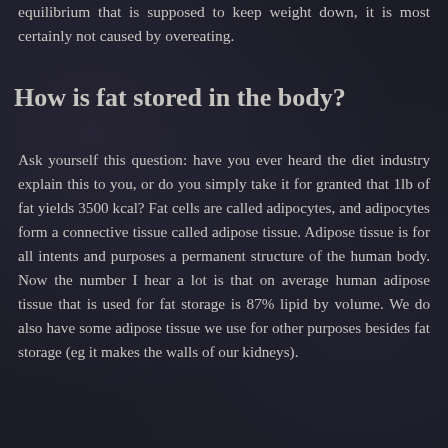equilibrium that is supposed to keep weight down, it is most certainly not caused by overeating.
How is fat stored in the body?
Ask yourself this question: have you ever heard the diet industry explain this to you, or do you simply take it for granted that 1lb of fat yields 3500 kcal? Fat cells are called adipocytes, and adipocytes form a connective tissue called adipose tissue. Adipose tissue is for all intents and purposes a permanent structure of the human body. Now the number I hear a lot is that on average human adipose tissue that is used for fat storage is 87% lipid by volume. We do also have some adipose tissue we use for other purposes besides fat storage (eg it makes the walls of our kidneys).